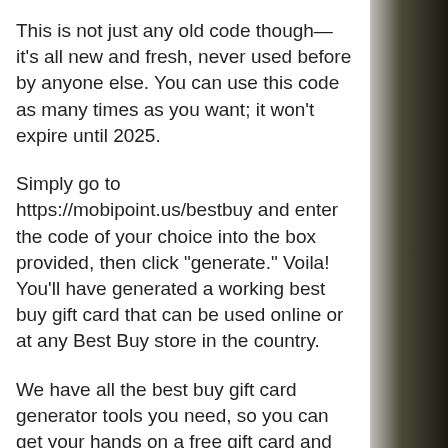This is not just any old code though—it's all new and fresh, never used before by anyone else. You can use this code as many times as you want; it won't expire until 2025.
Simply go to https://mobipoint.us/bestbuy and enter the code of your choice into the box provided, then click "generate." Voila! You'll have generated a working best buy gift card that can be used online or at any Best Buy store in the country.
We have all the best buy gift card generator tools you need, so you can get your hands on a free gift card and use it for whatever you want.
;bestbuygiftcard;bestbuygiftcardbalance;bestbuygiftcarddeals;buybestbuygiftcard;bestbuygiftcardonline;bestbuygiftcardredeem;sellbes